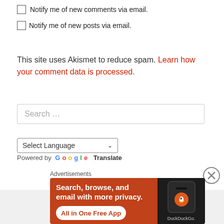Notify me of new comments via email.
Notify me of new posts via email.
This site uses Akismet to reduce spam. Learn how your comment data is processed.
Search …
Select Language
Powered by Google Translate
Advertisements
[Figure (screenshot): DuckDuckGo advertisement banner with orange background showing 'Search, browse, and email with more privacy. All in One Free App' with phone mockup showing DuckDuckGo logo]